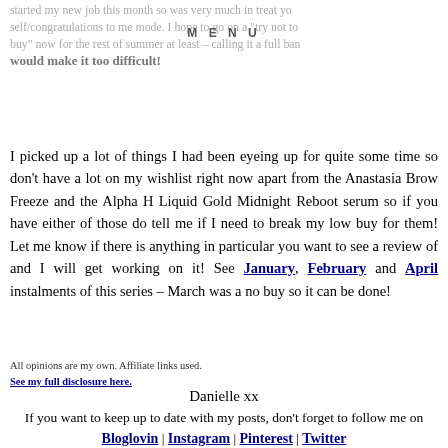started my new job this month so was very much in treat yourself/congratulations to me mode. I hope to go on a "try not to buy" now for the rest of summer at least – calling it a full ban would make it too difficult!
MENU
I picked up a lot of things I had been eyeing up for quite some time so don't have a lot on my wishlist right now apart from the Anastasia Brow Freeze and the Alpha H Liquid Gold Midnight Reboot serum so if you have either of those do tell me if I need to break my low buy for them! Let me know if there is anything in particular you want to see a review of and I will get working on it! See January, February and April instalments of this series – March was a no buy so it can be done!
All opinions are my own. Affiliate links used.
See my full disclosure here.
Danielle xx
If you want to keep up to date with my posts, don't forget to follow me on
Bloglovin | Instagram | Pinterest | Twitter